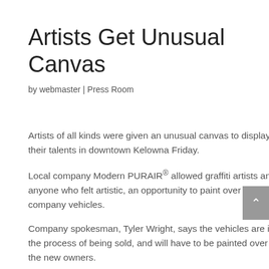Artists Get Unusual Canvas
by webmaster | Press Room
Artists of all kinds were given an unusual canvas to display their talents in downtown Kelowna Friday.
Local company Modern PURAIR® allowed graffiti artists and anyone who felt artistic, an opportunity to paint over three company vehicles.
Company spokesman, Tyler Wright, says the vehicles are in the process of being sold, and will have to be painted over by the new owners.
“We’ve re-branded our company, so we thought it would